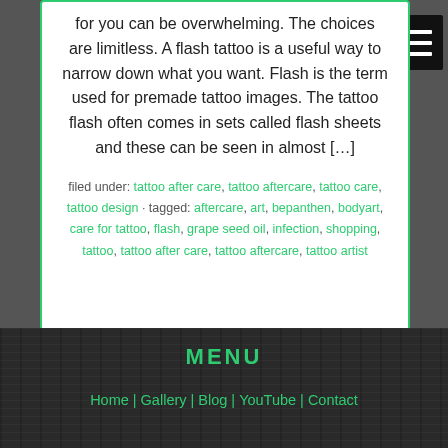for you can be overwhelming. The choices are limitless. A flash tattoo is a useful way to narrow down what you want. Flash is the term used for premade tattoo images. The tattoo flash often comes in sets called flash sheets and these can be seen in almost […]
filed under: tattoo after care, tattoo aftercare, tattoo care, tattoo design · tagged: aftercare, art, bepanthen, bodyart, care for tattoo, flash, grape seed oil, infection, shopping, tattoo, tattoo after care, tattoo aftercare, tattoo artist
MENU
Home | Gallery | Blog | YouTube | Contact